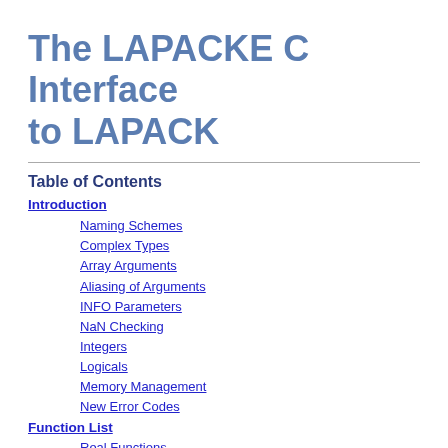The LAPACKE C Interface to LAPACK
Table of Contents
Introduction
Naming Schemes
Complex Types
Array Arguments
Aliasing of Arguments
INFO Parameters
NaN Checking
Integers
Logicals
Memory Management
New Error Codes
Function List
Real Functions
Complex Functions
Mixed Precision Functions
Examples
Calling DGEFORE